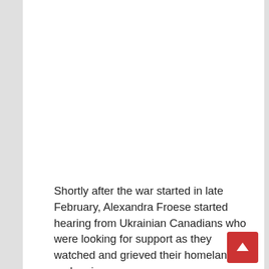[Figure (other): Large blank white area occupying the upper portion of the page, likely a photo or image placeholder.]
Shortly after the war started in late February, Alexandra Froese started hearing from Ukrainian Canadians who were looking for support as they watched and grieved their homeland under siege.